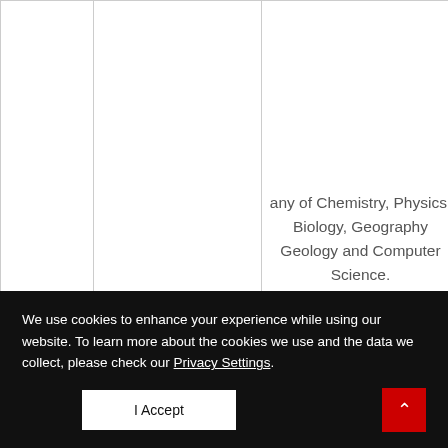|  |  | any of Chemistry, Physics, Biology, Geography Geology and Computer Science. |  |
| --- | --- | --- | --- |
| 8 | Computer Science | 1)'A' level/IJMB passes in English, Mathematics and... |  |
We use cookies to enhance your experience while using our website. To learn more about the cookies we use and the data we collect, please check our Privacy Settings.